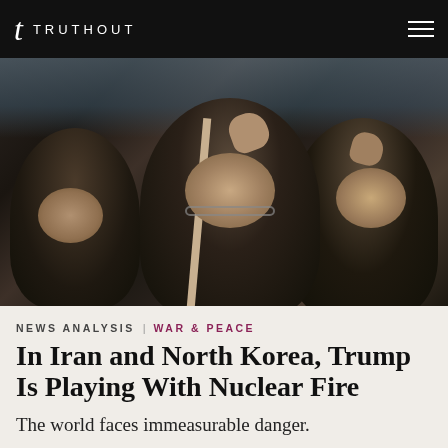TRUTHOUT
[Figure (photo): Women in black hijabs at a protest, one raising a fist, another holding a sign, in what appears to be a demonstration in Iran.]
NEWS ANALYSIS | WAR & PEACE
In Iran and North Korea, Trump Is Playing With Nuclear Fire
The world faces immeasurable danger.